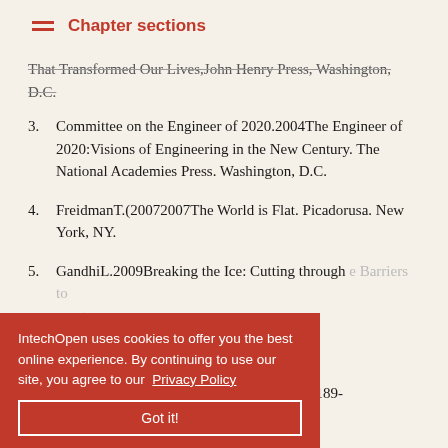Chapter sections
That Transformed Our Lives, John Henry Press, Washington, D.C.
3. Committee on the Engineer of 2020.2004The Engineer of 2020:Visions of Engineering in the New Century. The National Academies Press. Washington, D.C.
4. FreidmanT.(20072007The World is Flat. Picadorusa. New York, NY.
5. GandhiL.2009Breaking the Ice: Cutting through [the] Barriers to [achieve] [develop]ment. [Higher] Education, AC [...] [20]0State of the Future (The Millennium Project), 978-0-98189-
IntechOpen uses cookies to offer you the best online experience. By continuing to use our site, you agree to our Privacy Policy